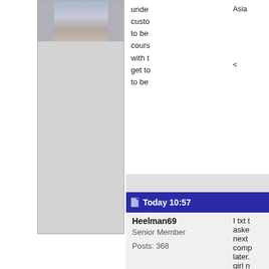[Figure (photo): Partial avatar/profile image visible at top of left sidebar, cropped]
under
custo
to be
cours
with t
get to
to be
Today 10:57
Heelman69
Senior Member
Posts: 368
Asia
<
I txt t
aske
next
comp
later.
girl n
Well,
or 22